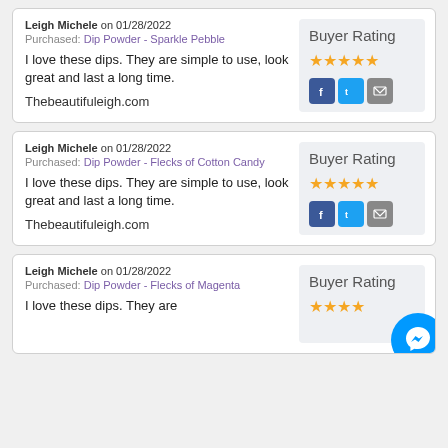Leigh Michele on 01/28/2022
Purchased: Dip Powder - Sparkle Pebble
I love these dips. They are simple to use, look great and last a long time.
Thebeautifuleigh.com
Buyer Rating: 4 stars
Leigh Michele on 01/28/2022
Purchased: Dip Powder - Flecks of Cotton Candy
I love these dips. They are simple to use, look great and last a long time.
Thebeautifuleigh.com
Buyer Rating: 4 stars
Leigh Michele on 01/28/2022
Purchased: Dip Powder - Flecks of Magenta
I love these dips. They are...
Buyer Rating: stars (partial)